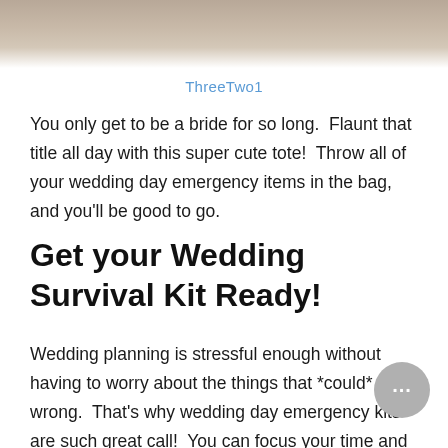[Figure (photo): Top portion of a photo showing what appears to be a wooden or natural background, cropped at the top of the page]
ThreeTwo1
You only get to be a bride for so long.  Flaunt that title all day with this super cute tote!  Throw all of your wedding day emergency items in the bag, and you'll be good to go.
Get your Wedding Survival Kit Ready!
Wedding planning is stressful enough without having to worry about the things that *could* go wrong.  That's why wedding day emergency kits are such great call!  You can focus your time and energy on more important things than